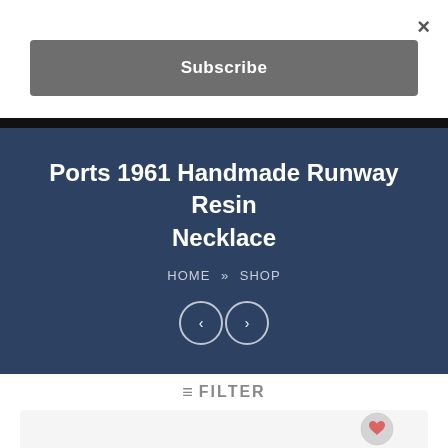×
Subscribe
Ports 1961 Handmade Runway Resin Necklace
HOME » SHOP
[Figure (other): Two circular navigation arrow buttons (left and right chevrons) with white outlines on dark blue background]
≡ FILTER
[Figure (other): Bottom portion of a product listing card with a heart/wishlist icon button in the bottom right corner]